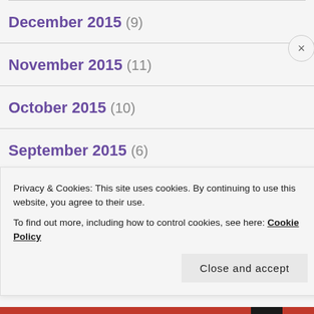December 2015 (9)
November 2015 (11)
October 2015 (10)
September 2015 (6)
August 2015 (6)
Privacy & Cookies: This site uses cookies. By continuing to use this website, you agree to their use.
To find out more, including how to control cookies, see here: Cookie Policy
Close and accept